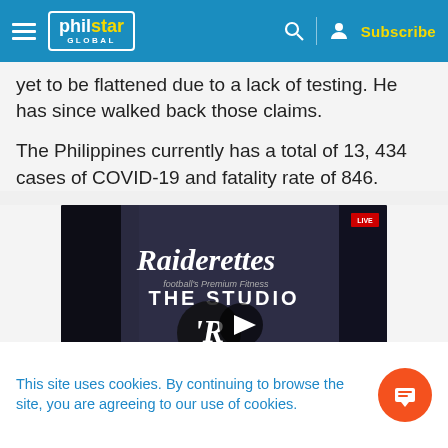philstar GLOBAL — Subscribe
yet to be flattened due to a lack of testing. He has since walked back those claims.
The Philippines currently has a total of 13, 434 cases of COVID-19 and fatality rate of 846.
[Figure (screenshot): Video thumbnail showing 'Raiderettes The Studio' with a play button overlay and a caption bar reading 'THIS SUMMER, THE RAIDERETTES ARE OFFERING CHILDREN THE OPPORTUNITY TO PARTICIPATE IN JUNIOR RAIDERETTES CAMPS THAT WILL TAKE PLACE INSIDE THE SAME, NEW, STATE OF THE ART STUDIO THAT FOOTBALL FABULOUS FEMALES UTILIZE TO PREPARE FOR']
This site uses cookies. By continuing to browse the site, you are agreeing to our use of cookies.